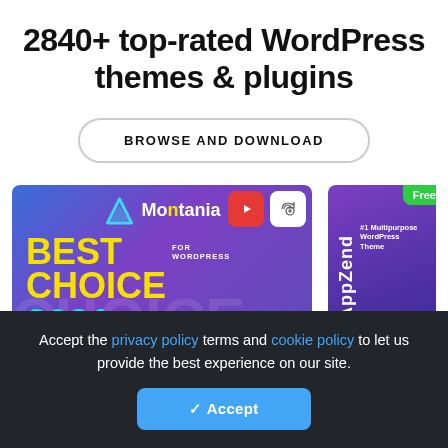2840+ top-rated WordPress themes & plugins
BROWSE AND DOWNLOAD
[Figure (screenshot): WordPress theme product card for Montania showing 'BEST CHOICE FOR WORDPRESS 2021' award badge with LIVE DEMO and DETAILS buttons]
[Figure (screenshot): WordPress theme product card for AppZend with 'Free' badge and '#1 Multipurpose WordPress Theme' text with LIVE DEMO button]
Accept the privacy policy terms and cookie policy to let us provide the best experience on our site.
Accept